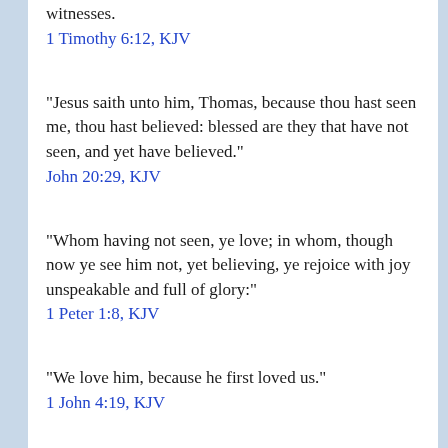witnesses.
1 Timothy 6:12, KJV
"Jesus saith unto him, Thomas, because thou hast seen me, thou hast believed: blessed are they that have not seen, and yet have believed."
John 20:29, KJV
"Whom having not seen, ye love; in whom, though now ye see him not, yet believing, ye rejoice with joy unspeakable and full of glory:"
1 Peter 1:8, KJV
"We love him, because he first loved us."
1 John 4:19, KJV